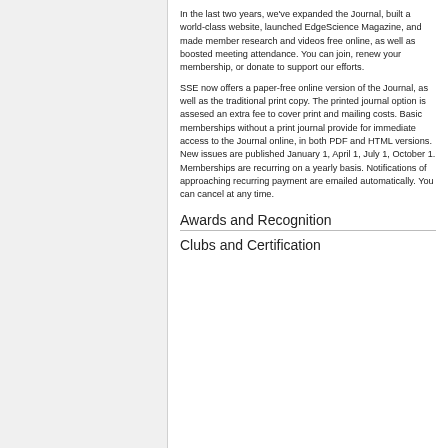In the last two years, we've expanded the Journal, built a world-class website, launched EdgeScience Magazine, and made member research and videos free online, as well as boosted meeting attendance. You can join, renew your membership, or donate to support our efforts.
SSE now offers a paper-free online version of the Journal, as well as the traditional print copy. The printed journal option is assesed an extra fee to cover print and mailing costs. Basic memberships without a print journal provide for immediate access to the Journal online, in both PDF and HTML versions. New issues are published January 1, April 1, July 1, October 1. Memberships are recurring on a yearly basis. Notifications of approaching recurring payment are emailed automatically. You can cancel at any time.
Awards and Recognition
Clubs and Certification